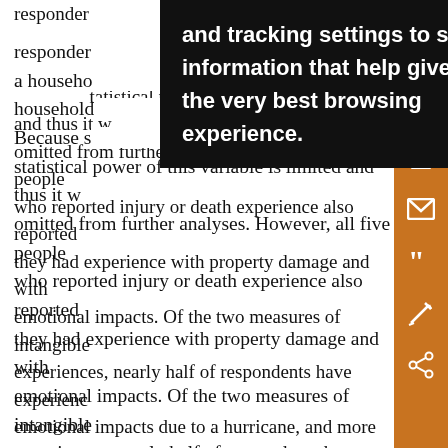responders ... they or a household ... household ... Because s... the statistical power of this variable is limited and thus it w omitted from further analyses. However, all five people who reported injury or death experience also reported they had experience with property damage and with emotional impacts. Of the two measures of intangible experiences, nearly half of respondents have experience emotional impacts due to a hurricane, and more than ha report that the impacts of their overall hurricane experiences are of moderate to extreme severity.

Correlations between all pairs of the experience variables show that each type of experience is significantly and
[Figure (other): Browser tooltip/popup overlay with dark background reading: 'and tracking settings to store information that help give you the very best browsing experience.']
[Figure (other): Orange sidebar with icons: save, email, quote, annotation/edit, share]